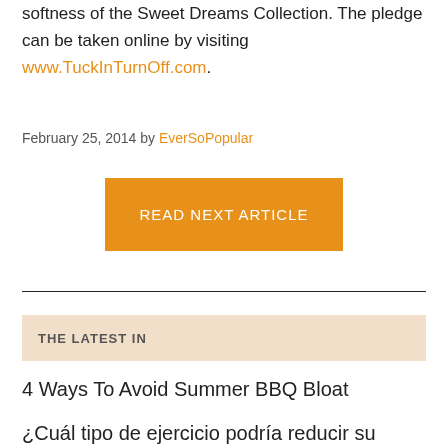softness of the Sweet Dreams Collection. The pledge can be taken online by visiting www.TuckInTurnOff.com.
February 25, 2014 by EverSoPopular
READ NEXT ARTICLE
THE LATEST IN
4 Ways To Avoid Summer BBQ Bloat
¿Cuál tipo de ejercicio podría reducir su